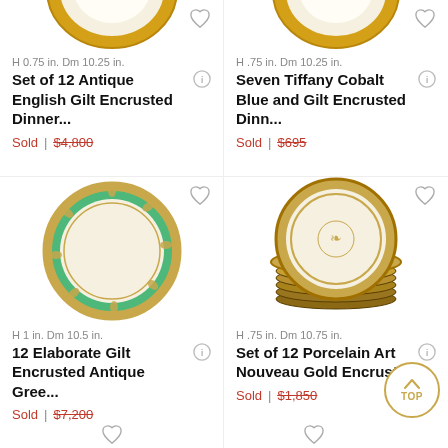[Figure (photo): Top-cropped antique English gilt encrusted dinner plate with gold rim, partially visible at top of left cell]
H 0.75 in. Dm 10.25 in.
Set of 12 Antique English Gilt Encrusted Dinner...
Sold | $4,800
[Figure (photo): Top-cropped Tiffany cobalt blue and gilt encrusted dinner plate, partially visible at top of right cell]
H .75 in. Dm 10.25 in.
Seven Tiffany Cobalt Blue and Gilt Encrusted Dinn...
Sold | $695
[Figure (photo): Green and gold gilt encrusted antique plate with turquoise/jade green border and gold decorative pattern]
H 1 in. Dm 10.5 in.
12 Elaborate Gilt Encrusted Antique Gree...
Sold | $7,200
[Figure (photo): Stack of 12 porcelain art nouveau gold encrusted plates with heavy gold border]
H .75 in. Dm 10.75 in.
Set of 12 Porcelain Art Nouveau Gold Encrust
Sold | $1,850